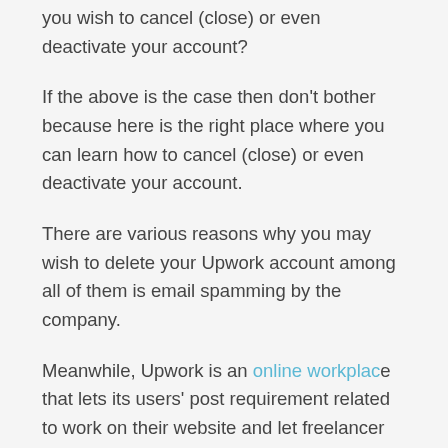you wish to cancel (close) or even deactivate your account?
If the above is the case then don't bother because here is the right place where you can learn how to cancel (close) or even deactivate your account.
There are various reasons why you may wish to delete your Upwork account among all of them is email spamming by the company.
Meanwhile, Upwork is an online workplace that lets its users' post requirement related to work on their website and let freelancer bid on that requirement. The website lets its users create or edit account information, upload pictures, browse through or post various projects, bid on the post and communicate to clients or freelance via chatting tools.